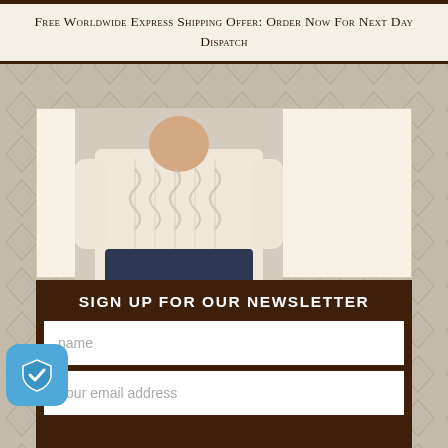Free Worldwide Express Shipping Offer: Order Now For Next Day Dispatch
[Figure (photo): Photo of a man wearing a cream/off-white cable knit crew neck Aran wool sweater, shown from chest to hip, with dark trousers]
Men's Cable Knit Crew Neck Aran Wool Sweater
AU$144.72  AU$94.04
SIGN UP FOR OUR NEWSLETTER
name
Your email address